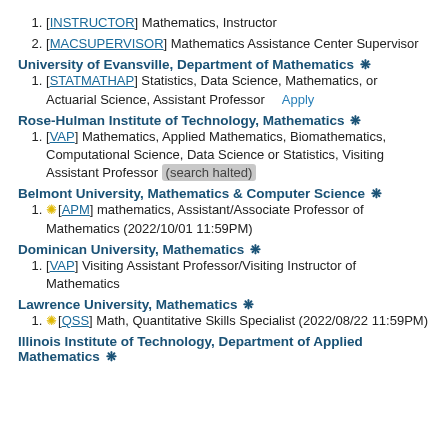[INSTRUCTOR] Mathematics, Instructor
[MACSUPERVISOR] Mathematics Assistance Center Supervisor
University of Evansville, Department of Mathematics ❈
[STATMATHAP] Statistics, Data Science, Mathematics, or Actuarial Science, Assistant Professor   Apply
Rose-Hulman Institute of Technology, Mathematics ❈
[VAP] Mathematics, Applied Mathematics, Biomathematics, Computational Science, Data Science or Statistics, Visiting Assistant Professor (search halted)
Belmont University, Mathematics & Computer Science ❈
⭐[APM] mathematics, Assistant/Associate Professor of Mathematics (2022/10/01 11:59PM)
Dominican University, Mathematics ❈
[VAP] Visiting Assistant Professor/Visiting Instructor of Mathematics
Lawrence University, Mathematics ❈
⭐[QSS] Math, Quantitative Skills Specialist (2022/08/22 11:59PM)
Illinois Institute of Technology, Department of Applied Mathematics ❈